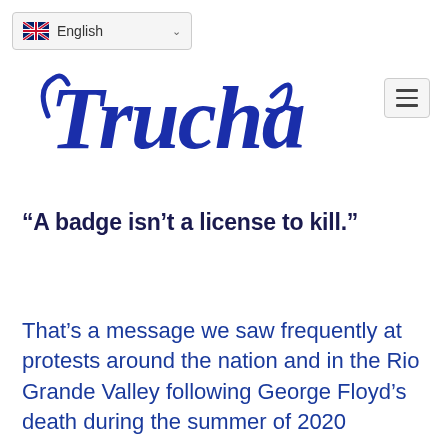English
[Figure (logo): Trucha logo in dark blue cursive/script lettering]
“A badge isn’t a license to kill.”
That’s a message we saw frequently at protests around the nation and in the Rio Grande Valley following George Floyd’s death during the summer of 2020